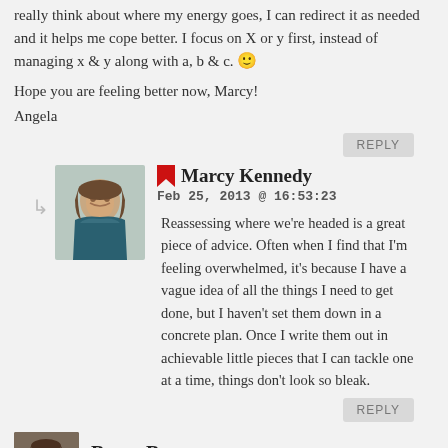really think about where my energy goes, I can redirect it as needed and it helps me cope better. I focus on X or y first, instead of managing x & y along with a, b & c. 🙂
Hope you are feeling better now, Marcy!
Angela
REPLY
Marcy Kennedy
Feb 25, 2013 @ 16:53:23
Reassessing where we're headed is a great piece of advice. Often when I find that I'm feeling overwhelmed, it's because I have a vague idea of all the things I need to get done, but I haven't set them down in a concrete plan. Once I write them out in achievable little pieces that I can tackle one at a time, things don't look so bleak.
REPLY
Becca Barray